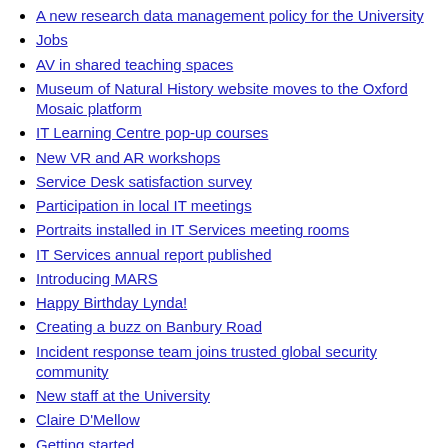A new research data management policy for the University
Jobs
AV in shared teaching spaces
Museum of Natural History website moves to the Oxford Mosaic platform
IT Learning Centre pop-up courses
New VR and AR workshops
Service Desk satisfaction survey
Participation in local IT meetings
Portraits installed in IT Services meeting rooms
IT Services annual report published
Introducing MARS
Happy Birthday Lynda!
Creating a buzz on Banbury Road
Incident response team joins trusted global security community
New staff at the University
Claire D'Mellow
Getting started